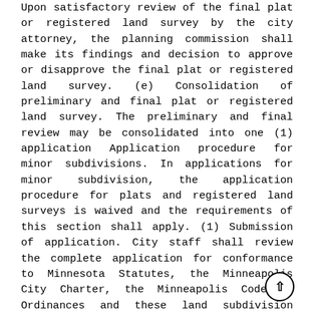Upon satisfactory review of the final plat or registered land survey by the city attorney, the planning commission shall make its findings and decision to approve or disapprove the final plat or registered land survey. (e) Consolidation of preliminary and final plat or registered land survey. The preliminary and final review may be consolidated into one (1) application Application procedure for minor subdivisions. In applications for minor subdivision, the application procedure for plats and registered land surveys is waived and the requirements of this section shall apply. (1) Submission of application. City staff shall review the complete application for conformance to Minnesota Statutes, the Minneapolis City Charter, the Minneapolis Code of Ordinances and these land subdivision regulations. Staff will advise the subdivider of changes, if any, required to bring the subdivision into conformance. (2) Public hearing. The planning commission shall hold a public hearing on the application, as revised by the subdivider, if at all, in response to staff review. Following the hearing, the planning commission shall make its findings and decision to approve or disapprove the minor subdivision Effect of subdivision application and approval. (a) Subdivision application. After a subdivider makes